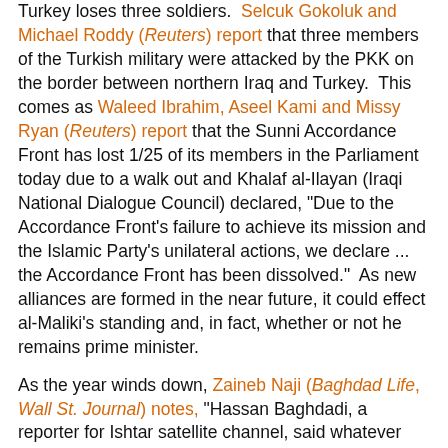Turkey loses three soldiers. Selcuk Gokoluk and Michael Roddy (Reuters) report that three members of the Turkish military were attacked by the PKK on the border between northern Iraq and Turkey. This comes as Waleed Ibrahim, Aseel Kami and Missy Ryan (Reuters) report that the Sunni Accordance Front has lost 1/25 of its members in the Parliament today due to a walk out and Khalaf al-Ilayan (Iraqi National Dialogue Council) declared, "Due to the Accordance Front's failure to achieve its mission and the Islamic Party's unilateral actions, we declare ... the Accordance Front has been dissolved." As new alliances are formed in the near future, it could effect al-Maliki's standing and, in fact, whether or not he remains prime minister.
As the year winds down, Zaineb Naji (Baghdad Life, Wall St. Journal) notes, "Hassan Baghdadi, a reporter for Ishtar satellite channel, said whatever happens to Mr. Zeidi, his actions made him the biggest news story of 2008. 'In Iraq, this story was the most important event of the year, bigger than the world financial crisis or anything else,' he said." John Ross (CounterPunch) observes:
Curiously, while Iraqis of all denominations rallied to the